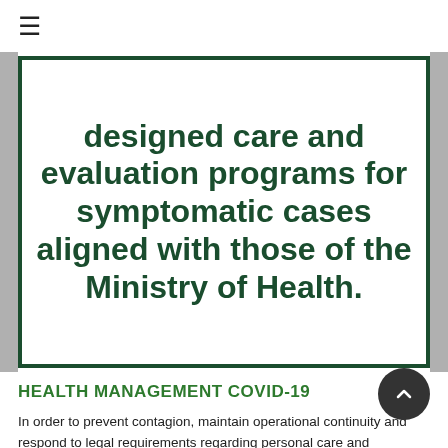≡
designed care and evaluation programs for symptomatic cases aligned with those of the Ministry of Health.
HEALTH MANAGEMENT COVID-19
In order to prevent contagion, maintain operational continuity and respond to legal requirements regarding personal care and conditioning of facilities and